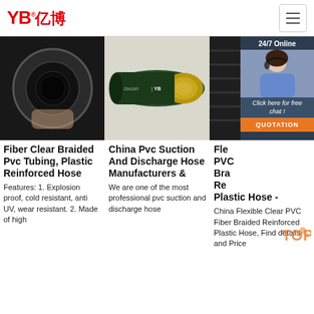YB亿博 logo with navigation hamburger menu
[Figure (photo): Close-up of a dark rubber hose end, held by a hand, showing circular cross-section]
[Figure (photo): YB branded braided hydraulic hose with gold and dark green wrap, labeled cctvcom | YB]
[Figure (photo): Dark braided hose partially visible with 24/7 Online chat overlay showing a female customer service agent wearing a headset, with Click here for free chat and QUOTATION button]
Fiber Clear Braided Pvc Tubing, Plastic Reinforced Hose
Features: 1. Explosion proof, cold resistant, anti UV, wear resistant. 2. Made of high
China Pvc Suction And Discharge Hose Manufacturers &
We are one of the most professional pvc suction and discharge hose
Fle PVC Bra Re Plastic Hose -
China Flexible Clear PVC Fiber Braided Reinforced Plastic Hose, Find details and Price